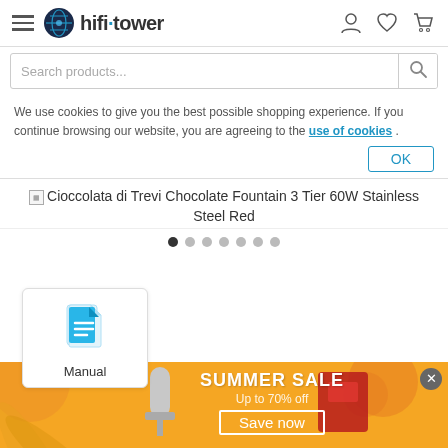hifi·tower navigation bar with hamburger menu, logo, search, user/wishlist/cart icons
Search products...
We use cookies to give you the best possible shopping experience. If you continue browsing our website, you are agreeing to the use of cookies .
OK
Cioccolata di Trevi Chocolate Fountain 3 Tier 60W Stainless Steel Red
[Figure (other): Carousel dot navigation with 7 dots, first dot active]
[Figure (other): Manual document card with cyan document icon and label 'Manual']
[Figure (other): Summer Sale promotional banner with orange background, microphone and appliance images, text 'SUMMER SALE Up to 70% off Save now' with bordered button, and close X button]